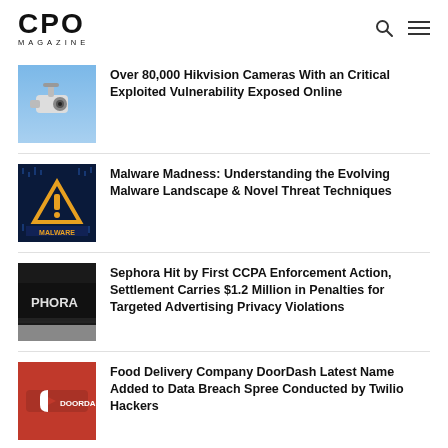CPO MAGAZINE
[Figure (illustration): Hikvision security camera mounted outdoors against blue sky]
Over 80,000 Hikvision Cameras With an Critical Exploited Vulnerability Exposed Online
[Figure (illustration): Yellow warning triangle with exclamation mark on dark blue digital matrix background with word MALWARE]
Malware Madness: Understanding the Evolving Malware Landscape & Novel Threat Techniques
[Figure (illustration): Sephora store sign closeup]
Sephora Hit by First CCPA Enforcement Action, Settlement Carries $1.2 Million in Penalties for Targeted Advertising Privacy Violations
[Figure (illustration): DoorDash logo on red background]
Food Delivery Company DoorDash Latest Name Added to Data Breach Spree Conducted by Twilio Hackers